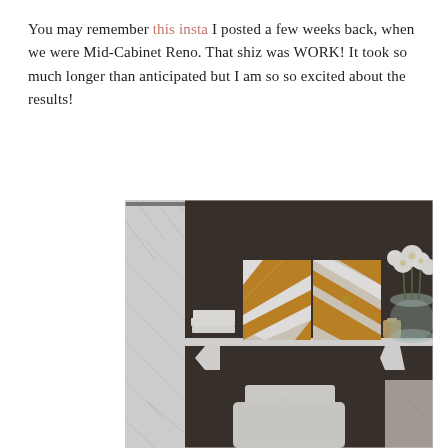You may remember this insta I posted a few weeks back, when we were Mid-Cabinet Reno. That shiz was WORK! It took so much longer than anticipated but I am so so excited about the results!
[Figure (photo): A renovated bathroom showing a white shelf mounted on a dark brown wall above a toilet. On the shelf are folded white towels, two gold and white chevron-striped canvas artworks, a small candle, and a glass vase with white flowers. A white patterned shower curtain is visible on the left. A marble countertop is partially visible on the right.]